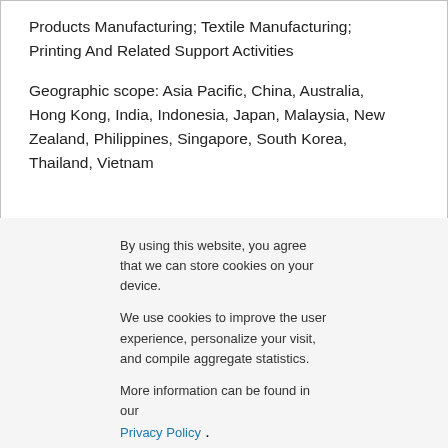Products Manufacturing; Textile Manufacturing; Printing And Related Support Activities
Geographic scope: Asia Pacific, China, Australia, Hong Kong, India, Indonesia, Japan, Malaysia, New Zealand, Philippines, Singapore, South Korea, Thailand, Vietnam
By using this website, you agree that we can store cookies on your device.
We use cookies to improve the user experience, personalize your visit, and compile aggregate statistics.
More information can be found in our Privacy Policy .